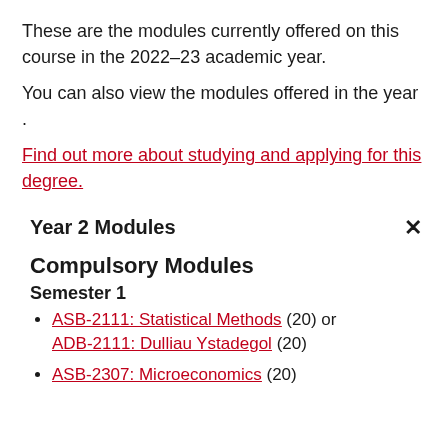These are the modules currently offered on this course in the 2022–23 academic year.
You can also view the modules offered in the year .
Find out more about studying and applying for this degree.
Year 2 Modules
Compulsory Modules
Semester 1
ASB-2111: Statistical Methods (20) or ADB-2111: Dulliau Ystadegol (20)
ASB-2307: Microeconomics (20)